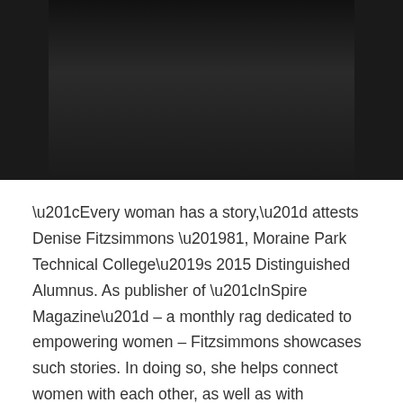[Figure (photo): Partial photo of a person wearing dark clothing, cropped showing lower face/shoulders against a dark background]
“Every woman has a story,” attests Denise Fitzsimmons ’81, Moraine Park Technical College’s 2015 Distinguished Alumnus. As publisher of “InSpire Magazine” – a monthly rag dedicated to empowering women – Fitzsimmons showcases such stories. In doing so, she helps connect women with each other, as well as with resources and support geared to improving their lives.
Fitzsimmons, of Beaver Dam, Wis., graduated from Moraine Park with a degree in fashion merchandising and marketing before enjoying a successful career in